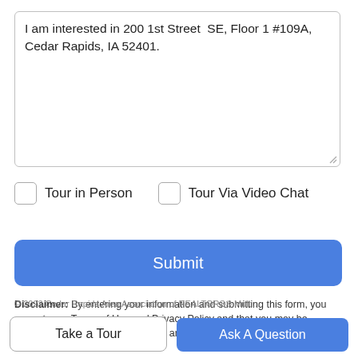I am interested in 200 1st Street  SE, Floor 1 #109A, Cedar Rapids, IA 52401.
Tour in Person
Tour Via Video Chat
Submit
Disclaimer: By entering your information and submitting this form, you agree to our Terms of Use and Privacy Policy and that you may be contacted by phone, text message and email about your inquiry.
© 2023 Cedar Rapids Area Association of REALTORS® Multi...
Take a Tour
Ask A Question